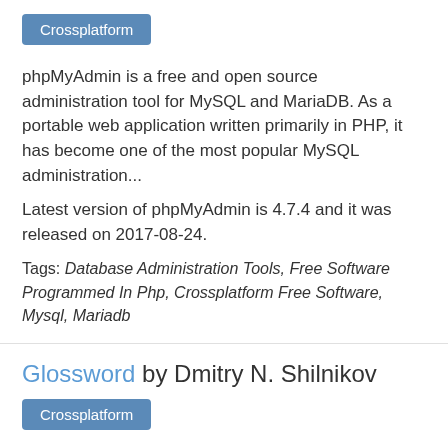Crossplatform
phpMyAdmin is a free and open source administration tool for MySQL and MariaDB. As a portable web application written primarily in PHP, it has become one of the most popular MySQL administration...
Latest version of phpMyAdmin is 4.7.4 and it was released on 2017-08-24.
Tags: Database Administration Tools, Free Software Programmed In Php, Crossplatform Free Software, Mysql, Mariadb
Glossword by Dmitry N. Shilnikov
Crossplatform
Glossword is an open source tool written in PHP intended to create and publish an online multilingual dictionary, glossary, or...